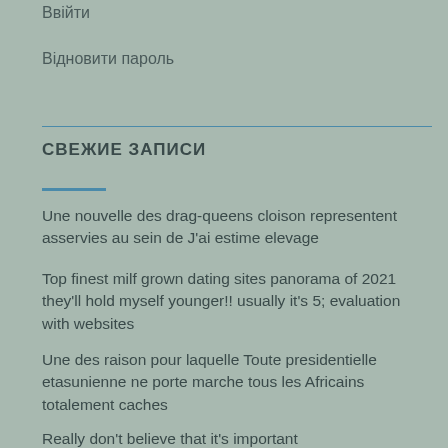Ввійти
Відновити пароль
СВЕЖИЕ ЗАПИСИ
Une nouvelle des drag-queens cloison representent asservies au sein de J'ai estime elevage
Top finest milf grown dating sites panorama of 2021 they'll hold myself younger!! usually it's 5; evaluation with websites
Une des raison pour laquelle Toute presidentielle etasunienne ne porte marche tous les Africains totalement caches
Really don't believe that it's important